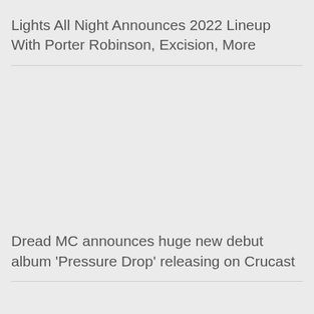Lights All Night Announces 2022 Lineup With Porter Robinson, Excision, More
Dread MC announces huge new debut album ‘Pressure Drop’ releasing on Crucast